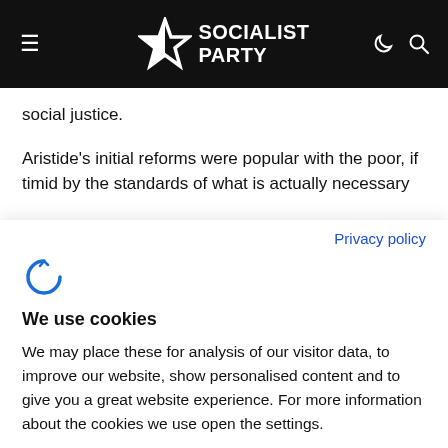SOCIALIST PARTY
social justice.
Aristide's initial reforms were popular with the poor, if timid by the standards of what is actually necessary
Privacy policy
[Figure (logo): Cookiebot / cookie consent logo icon in blue]
We use cookies
We may place these for analysis of our visitor data, to improve our website, show personalised content and to give you a great website experience. For more information about the cookies we use open the settings.
Accept all
Deny
No, adjust